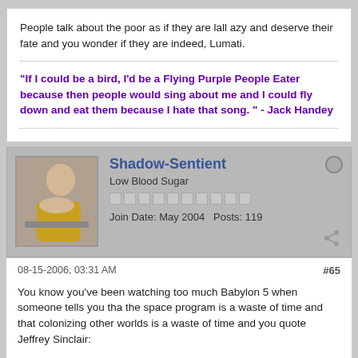People talk about the poor as if they are lall azy and deserve their fate and you wonder if they are indeed, Lumati.
"If I could be a bird, I'd be a Flying Purple People Eater because then people would sing about me and I could fly down and eat them because I hate that song. " - Jack Handey
Shadow-Sentient
Low Blood Sugar
Join Date: May 2004   Posts: 119
08-15-2006, 03:31 AM
#65
You know you've been watching too much Babylon 5 when someone tells you tha the space program is a waste of time and that colonizing other worlds is a waste of time and you quote Jeffrey Sinclair:

"No. We have to stay here, and there's a simple reason why. Ask ten different scientists about the environment, population control, genetics - and you'll get ten different answers. But there's one thing every scientist on the planet agrees on: whether it happens in a hundred years, or a thousand years, or a million years, eventually our sun will